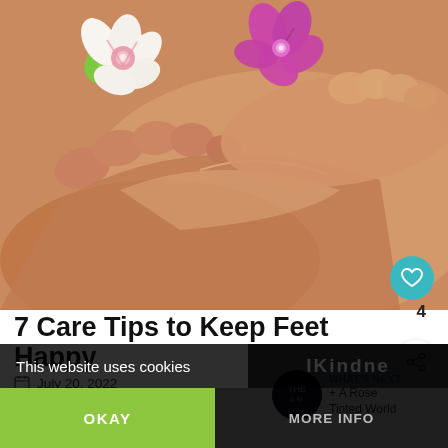[Figure (photo): Close-up photo of feet with tropical flowers (white/pink plumeria and magenta orchid) and glossy/oiled skin, spa treatment scene]
7 Care Tips to Keep Feet Happy
July 20, 2022
Jo Boyne
WHAT'S NEXT → + A Rose Tinted World
This website uses cookies
OKAY
MORE INFO